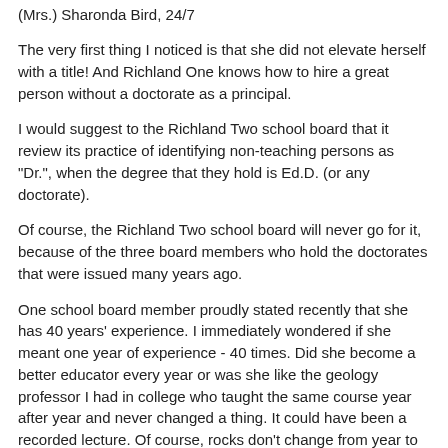(Mrs.) Sharonda Bird, 24/7
The very first thing I noticed is that she did not elevate herself with a title! And Richland One knows how to hire a great person without a doctorate as a principal.
I would suggest to the Richland Two school board that it review its practice of identifying non-teaching persons as "Dr.", when the degree that they hold is Ed.D. (or any doctorate).
Of course, the Richland Two school board will never go for it, because of the three board members who hold the doctorates that were issued many years ago.
One school board member proudly stated recently that she has 40 years' experience. I immediately wondered if she meant one year of experience - 40 times. Did she become a better educator every year or was she like the geology professor I had in college who taught the same course year after year and never changed a thing. It could have been a recorded lecture. Of course, rocks don't change from year to year, but students do.